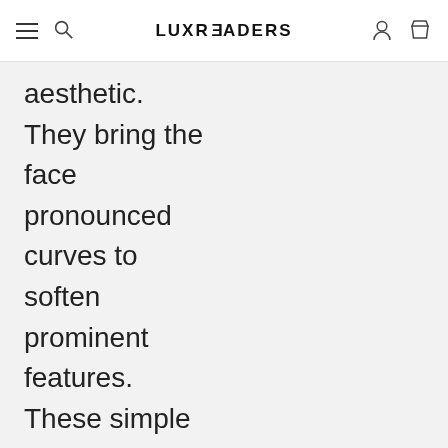LUXREADERS
aesthetic. They bring the face pronounced curves to soften prominent features. These simple looking frames are full of details that make them exceptional: